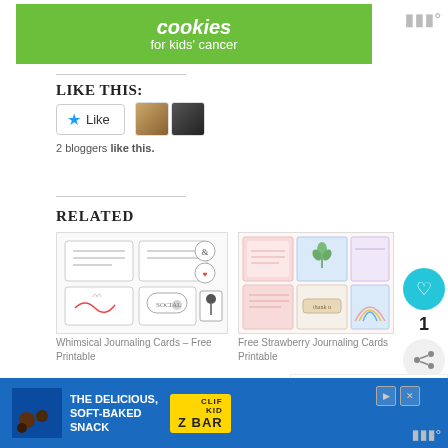[Figure (photo): Green advertisement banner for 'cookies for kids cancer' with white text on green background]
LIKE THIS:
[Figure (screenshot): WordPress-style Like button with star icon and two blogger avatar thumbnails]
2 bloggers like this.
RELATED
[Figure (photo): Whimsical Journaling Cards thumbnail - free printable journaling cards layout]
Whimsical Journaling Cards – Free Printable
[Figure (photo): Free Strawberry Journaling Cards Printable thumbnail]
Free Strawberry Journaling Cards Printable
[Figure (screenshot): What's Next widget showing Airmail Project Life...]
[Figure (photo): Partial view of a third related card thumbnail at bottom]
[Figure (photo): Blue advertisement banner for Z Bar - The Delicious, Soft-Baked Snack]